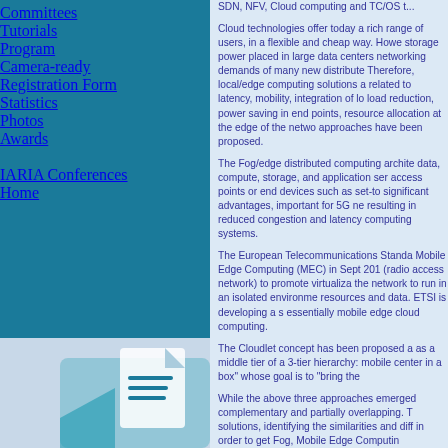Committees
Tutorials
Program
Camera-ready
Registration Form
Statistics
Photos
Awards
IARIA Conferences
Home
Cloud technologies offer today a rich range of users, in a flexible and cheap way. However, storage power placed in large data centers networking demands of many new distributed. Therefore, local/edge computing solutions a related to latency, mobility, integration of lo load reduction, power saving in end points, resource allocation at the edge of the netwo approaches have been proposed.
The Fog/edge distributed computing archite data, compute, storage, and application ser access points or end devices such as set-to significant advantages, important for 5G ne resulting in reduced congestion and latency computing systems.
The European Telecommunications Standa Mobile Edge Computing (MEC) in Sept 201 (radio access network) to promote virtualiza the network to run in an isolated environme resources and data. ETSI is developing a s essentially mobile edge cloud computing.
The Cloudlet concept has been proposed a as a middle tier of a 3-tier hierarchy: mobile center in a box" whose goal is to "bring the
While the above three approaches emerged complementary and partially overlapping. T solutions, identifying the similarities and diff in order to get Fog, Mobile Edge Computin